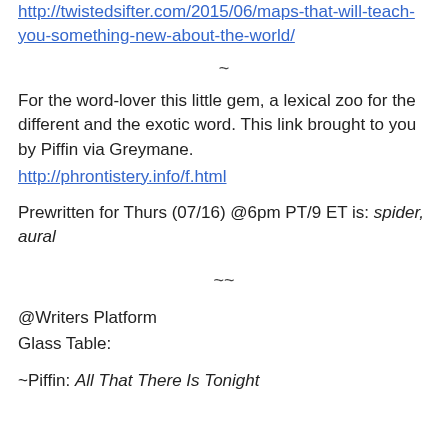http://twistedsifter.com/2015/06/maps-that-will-teach-you-something-new-about-the-world/
~
For the word-lover this little gem, a lexical zoo for the different and the exotic word. This link brought to you by Piffin via Greymane.
http://phrontistery.info/f.html
Prewritten for Thurs (07/16) @6pm PT/9 ET is: spider, aural
~~
@Writers Platform
Glass Table:
~Piffin: All That There Is Tonight